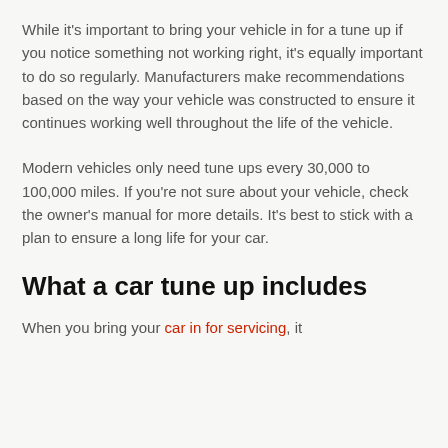While it's important to bring your vehicle in for a tune up if you notice something not working right, it's equally important to do so regularly. Manufacturers make recommendations based on the way your vehicle was constructed to ensure it continues working well throughout the life of the vehicle.
Modern vehicles only need tune ups every 30,000 to 100,000 miles. If you're not sure about your vehicle, check the owner's manual for more details. It's best to stick with a plan to ensure a long life for your car.
What a car tune up includes
When you bring your car in for servicing, it